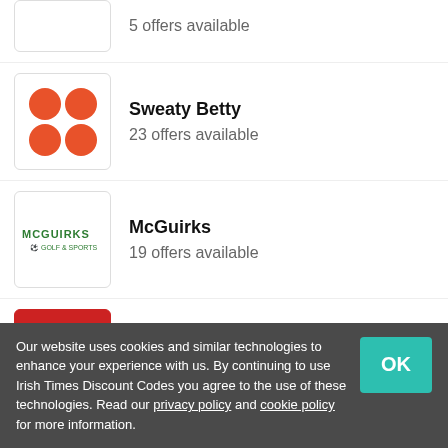5 offers available
Sweaty Betty — 23 offers available
McGuirks — 19 offers available
New Balance — 13 offers available
Tommy Hilfiger — 17 offers available
Our website uses cookies and similar technologies to enhance your experience with us. By continuing to use Irish Times Discount Codes you agree to the use of these technologies. Read our privacy policy and cookie policy for more information.